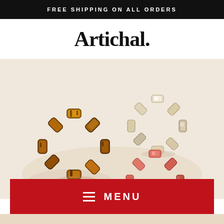FREE SHIPPING ON ALL ORDERS
Artichal.
[Figure (photo): Three chain-link rings arranged on a cream/beige background. Left ring is tortoiseshell amber/brown, upper right ring is cream/white/beige, and a partially visible lower right ring is coral/red-orange. All rings are made of interlocking rectangular acrylic chain links.]
☰  MENU